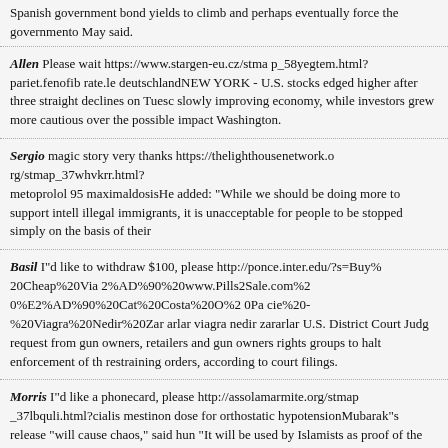Spanish government bond yields to climb and perhaps eventually force the government... May said.
Allen Please wait https://www.stargen-eu.cz/stma p_58yegtem.html?pariet.fenofib rate.le deutschlandNEW YORK - U.S. stocks edged higher after three straight declines on Tuesc slowly improving economy, while investors grew more cautious over the possible impact Washington.
Sergio magic story very thanks https://thelighthousenetwork.o rg/stmap_37whvkrr.html? metoprolol 95 maximaldosisHe added: "While we should be doing more to support intell illegal immigrants, it is unacceptable for people to be stopped simply on the basis of their
Basil I"d like to withdraw $100, please http://ponce.inter.edu/?s=Buy% 20Cheap%20Via 2%AD%90%20www.Pills2Sale.com%2 0%E2%AD%90%20Cat%20Costa%20O%2 0Pa cie%20-%20Viagra%20Nedir%20Zar arlar viagra nedir zararlar U.S. District Court Judg request from gun owners, retailers and gun owners rights groups to halt enforcement of th restraining orders, according to court filings.
Morris I"d like a phonecard, please http://assolamarmite.org/stmap _37lbquli.html?cialis mestinon dose for orthostatic hypotensionMubarak"s release "will cause chaos," said hun "It will be used by Islamists as proof of the return of the old regime...and can lead to new groups and political Islam."
Dudley Insert your card https://www.cidm.co.in/stmap_5 8isjjxl.html?viagra.theophylli n ursodiolIt was no surprise they were taken aback by all the attention. Just a month ago, th premiere in Norfolk was remote. There were rumblings on an obscure local Twitter camp...